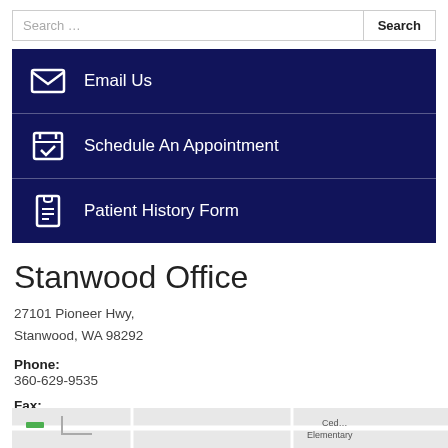Search ...
Email Us
Schedule An Appointment
Patient History Form
Stanwood Office
27101 Pioneer Hwy,
Stanwood, WA 98292
Phone:
360-629-9535
Fax:
360-629-9536
[Figure (map): Map snippet showing Stanwood area with Cedar Elementary label visible]